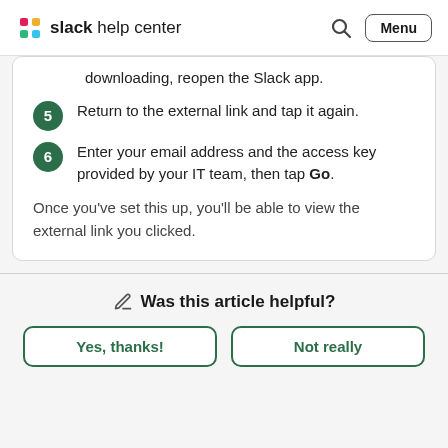slack help center
downloading, reopen the Slack app.
5 Return to the external link and tap it again.
6 Enter your email address and the access key provided by your IT team, then tap Go.
Once you’ve set this up, you’ll be able to view the external link you clicked.
Was this article helpful?